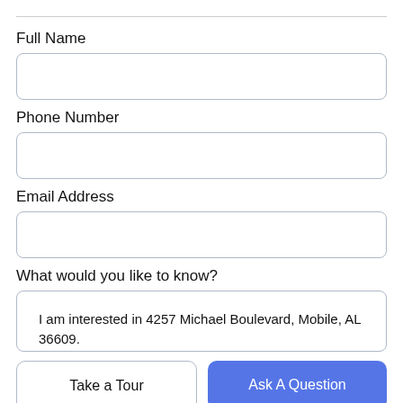Full Name
[Figure (other): Empty text input field for Full Name]
Phone Number
[Figure (other): Empty text input field for Phone Number]
Email Address
[Figure (other): Empty text input field for Email Address]
What would you like to know?
[Figure (other): Textarea with text: I am interested in 4257 Michael Boulevard, Mobile, AL 36609.]
Take a Tour
Ask A Question